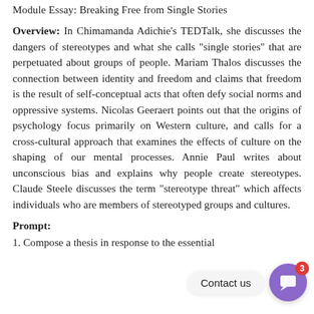Module Essay: Breaking Free from Single Stories
Overview: In Chimamanda Adichie's TEDTalk, she discusses the dangers of stereotypes and what she calls “single stories” that are perpetuated about groups of people. Mariam Thalos discusses the connection between identity and freedom and claims that freedom is the result of self-conceptual acts that often defy social norms and oppressive systems. Nicolas Geeraert points out that the origins of psychology focus primarily on Western culture, and calls for a cross-cultural approach that examines the effects of culture on the shaping of our mental processes. Annie Paul writes about unconscious bias and explains why people create stereotypes. Claude Steele discusses the term “stereotype threat” which affects individuals who are members of stereotyped groups and cultures.
Prompt:
1. Compose a thesis in response to the essential